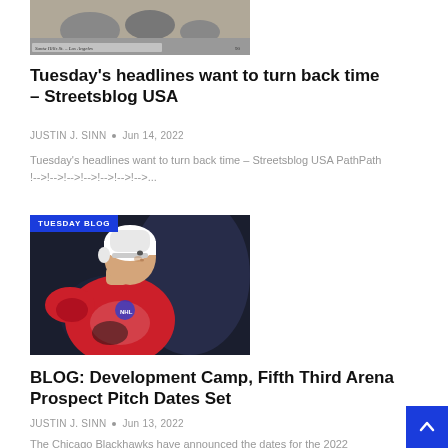[Figure (photo): Black and white historical photo with handwritten caption 'Santa Hills St. – Los Angeles' and number 90 in corner]
Tuesday's headlines want to turn back time – Streetsblog USA
JUSTIN J. SINN  •  Jun 14, 2022
Tuesday's headlines want to turn back time – Streetsblog USA PathPath !-->!-->!-->!-->!-->!-->!-->...
[Figure (photo): Hockey player in red Chicago Blackhawks jersey and white helmet; blue badge overlay reading TUESDAY BLOG]
BLOG: Development Camp, Fifth Third Arena Prospect Pitch Dates Set
JUSTIN J. SINN  •  Jun 13, 2022
The Chicago Blackhawks have announced the dates for the 2022